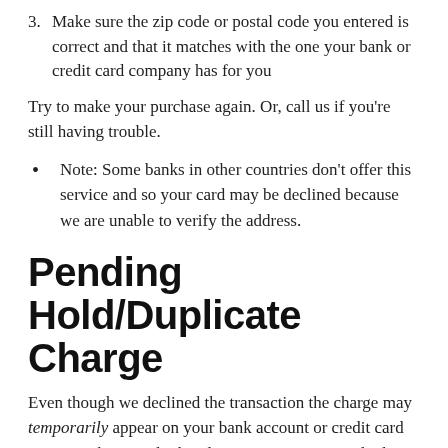3. Make sure the zip code or postal code you entered is correct and that it matches with the one your bank or credit card company has for you
Try to make your purchase again. Or, call us if you're still having trouble.
Note: Some banks in other countries don't offer this service and so your card may be declined because we are unable to verify the address.
Pending Hold/Duplicate Charge
Even though we declined the transaction the charge may temporarily appear on your bank account or credit card account when you look online or you may see a duplicate